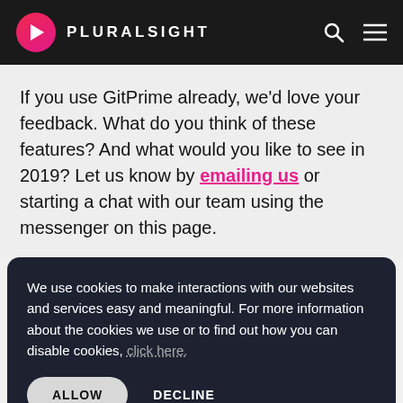PLURALSIGHT
If you use GitPrime already, we’d love your feedback. What do you think of these features? And what would you like to see in 2019? Let us know by emailing us or starting a chat with our team using the messenger on this page.
We use cookies to make interactions with our websites and services easy and meaningful. For more information about the cookies we use or to find out how you can disable cookies, click here.